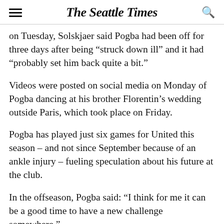The Seattle Times
on Tuesday, Solskjaer said Pogba had been off for three days after being “struck down ill” and it had “probably set him back quite a bit.”
Videos were posted on social media on Monday of Pogba dancing at his brother Florentin’s wedding outside Paris, which took place on Friday.
Pogba has played just six games for United this season – and not since September because of an ankle injury – fueling speculation about his future at the club.
In the offseason, Pogba said: “I think for me it can be a good time to have a new challenge somewhere.”
Solskjaer has maintained in recent weeks that Pogba